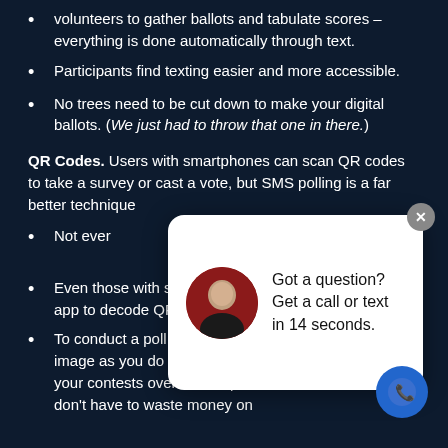volunteers to gather ballots and tabulate scores – everything is done automatically through text.
Participants find texting easier and more accessible.
No trees need to be cut down to make your digital ballots. (We just had to throw that one in there.)
QR Codes. Users with smartphones can scan QR codes to take a survey or cast a vote, but SMS polling is a far better technique
Not ever[yone has a smartphone or internet] connecti[on, but virtually everyone has a phone capable of] texting c[apable of texting]
Even those with smartphones must first download an app to decode QR images.
To conduct a poll via text message, you don't need an image as you do with QR codes, so you announce your contests over a microphone radio broadcast and don't have to waste money on
[Figure (screenshot): Chat popup widget with avatar showing 'Got a question? Get a call or text in 14 seconds.' with a close button and a blue call button in bottom right]